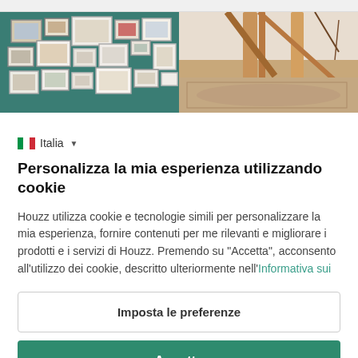[Figure (photo): Two interior design photos side by side: left shows a teal wall with multiple framed artworks/photos gallery, right shows a wooden canopy or structure with patterned fabric/rug visible below]
Italia
Personalizza la mia esperienza utilizzando cookie
Houzz utilizza cookie e tecnologie simili per personalizzare la mia esperienza, fornire contenuti per me rilevanti e migliorare i prodotti e i servizi di Houzz. Premendo su "Accetta", acconsento all'utilizzo dei cookie, descritto ulteriormente nell'Informativa sui
Imposta le preferenze
Accetta